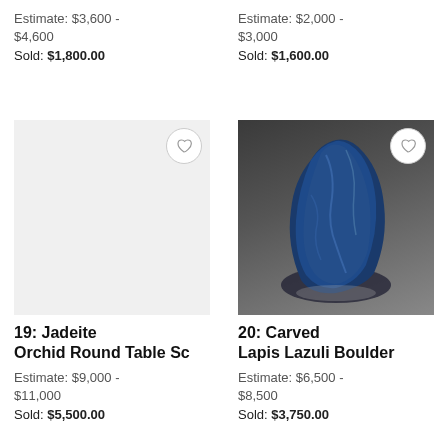Estimate: $3,600 - $4,600
Sold: $1,800.00
Estimate: $2,000 - $3,000
Sold: $1,600.00
[Figure (photo): No image shown, placeholder area with heart/favorite button for lot 19]
[Figure (photo): Carved Lapis Lazuli Boulder sculpture, dark blue stone carved in mountainous form, photographed against dark grey background]
19: Jadeite Orchid Round Table Sc
20: Carved Lapis Lazuli Boulder
Estimate: $9,000 - $11,000
Sold: $5,500.00
Estimate: $6,500 - $8,500
Sold: $3,750.00